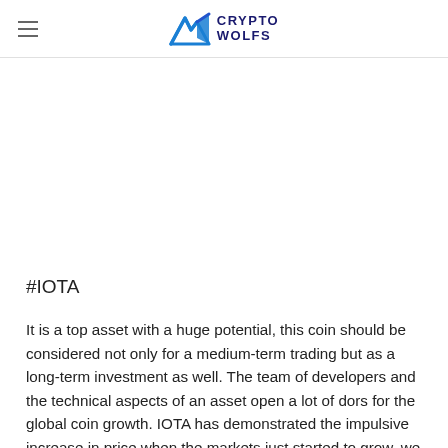CRYPTO WOLFS
#IOTA
It is a top asset with a huge potential, this coin should be considered not only for a medium-term trading but as a long-term investment as well. The team of developers and the technical aspects of an asset open a lot of dors for the global coin growth. IOTA has demonstrated the impulsive increase in price when the markets just started to grow, we can expect the movement like that during the formation of the